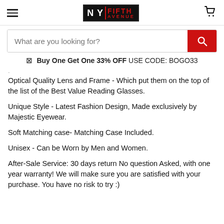NY Fifth Avenue header with logo, hamburger menu, and cart icon
What are you looking for?
Buy One Get One 33% OFF  USE CODE: BOGO33
Optical Quality Lens and Frame - Which put them on the top of the list of the Best Value Reading Glasses.
Unique Style - Latest Fashion Design, Made exclusively by Majestic Eyewear.
Soft Matching case- Matching Case Included.
Unisex - Can be Worn by Men and Women.
After-Sale Service: 30 days return No question Asked, with one year warranty! We will make sure you are satisfied with your purchase. You have no risk to try :)